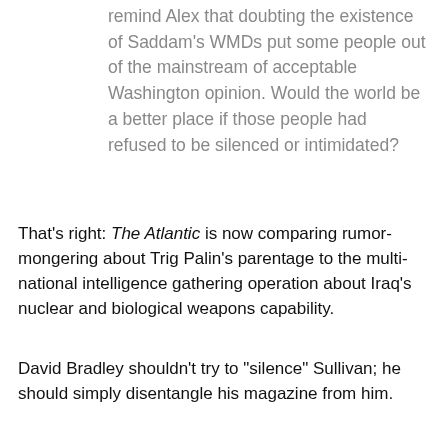remind Alex that doubting the existence of Saddam's WMDs put some people out of the mainstream of acceptable Washington opinion. Would the world be a better place if those people had refused to be silenced or intimidated?
That's right: The Atlantic is now comparing rumor-mongering about Trig Palin's parentage to the multi-national intelligence gathering operation about Iraq's nuclear and biological weapons capability.
David Bradley shouldn't try to "silence" Sullivan; he should simply disentangle his magazine from him.
Jonathan V. Last at 2:08 PM
25 comments:
Tokkul_ever62 4:56 PM